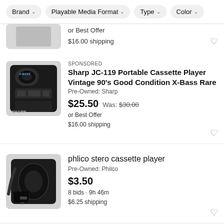Brand | Playable Media Format | Type | Color
or Best Offer
$16.00 shipping
[Figure (photo): Partial view of a cassette player (top portion cut off)]
SPONSORED
Sharp JC-119 Portable Cassette Player Vintage 90's Good Condition X-Bass Rare
Pre-Owned: Sharp
$25.50 Was: $30.00
or Best Offer
$16.00 shipping
[Figure (photo): Sharp JC-119 black portable cassette player with X-Bass branding]
phlico stero cassette player
Pre-Owned: Philco
$3.50
8 bids · 9h 46m
$6.25 shipping
[Figure (photo): Philco portable cassette player in black, shown with carrying pouch]